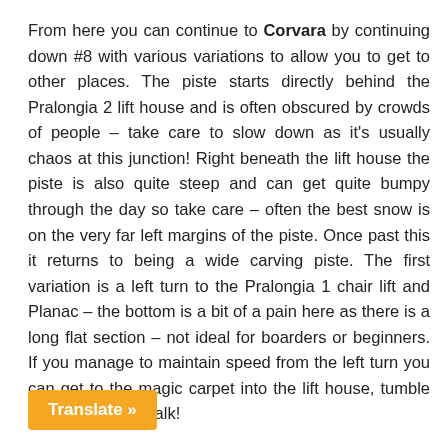From here you can continue to Corvara by continuing down #8 with various variations to allow you to get to other places. The piste starts directly behind the Pralongia 2 lift house and is often obscured by crowds of people – take care to slow down as it's usually chaos at this junction! Right beneath the lift house the piste is also quite steep and can get quite bumpy through the day so take care – often the best snow is on the very far left margins of the piste. Once past this it returns to being a wide carving piste. The first variation is a left turn to the Pralongia 1 chair lift and Planac – the bottom is a bit of a pain here as there is a long flat section – not ideal for boarders or beginners. If you manage to maintain speed from the left turn you can get to the magic carpet into the lift house, tumble and its a lonely walk!
Otherwise continue easily down past various old ski tows and you will come to an obvious split which is netted to force you to slow down. It's a critical junction and you can easily split a ... ht hand one takes you to the east side of ... rds Col Alt and the eastern area, i.e. Piz La...
Translate »